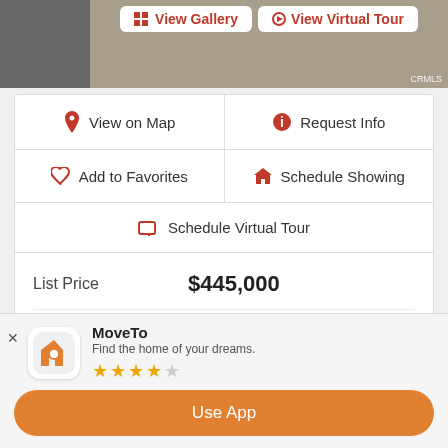[Figure (screenshot): Top portion of a real estate listing page showing a property image with gravel/stone landscaping, with 'View Gallery' and 'View Virtual Tour' buttons overlaid, and a CRMLS watermark.]
| 📍 View on Map | ℹ Request Info |
| ♡ Add to Favorites | 🏠 Schedule Showing |
| 💻 Schedule Virtual Tour |  |
| List Price | $445,000 |
| Price Change | ▼ $14,000 31 days ago |
| Status | ACTIVE |
[Figure (screenshot): MoveTo app banner showing app icon (house with magnifying glass on orange background), app name 'MoveTo', tagline 'Find the home of your dreams.', 3.5 star rating, and an orange 'Use App' button.]